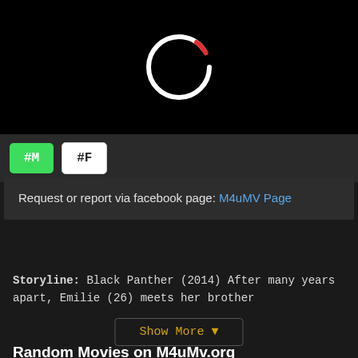[Figure (screenshot): Black video player area with a loading spinner (white circle with small red arc at top right)]
#M
#F
Request or report via facebook page: M4uMV Page
Storyline:  Black Panther (2014) After many years apart, Emilie (26) meets her brother
Show More ▼
Random Movies on M4uMv.org